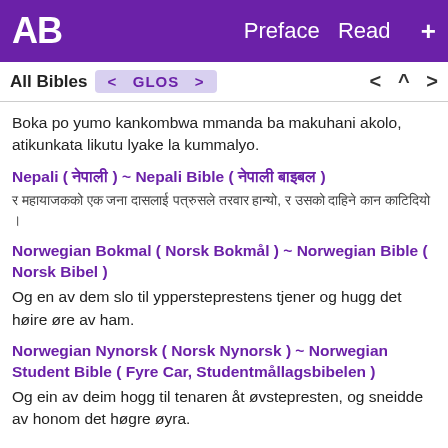AB  Preface  Read  +
All Bibles  < GLOS >  < ^ >
Boka po yumo kankombwa mmanda ba makuhani akolo, atikunkata likutu lyake la kummalyo.
Nepali ( नेपाली ) ~ Nepali Bible ( नेपाली बाइबल )
र महायाजकको एक जना दासलाई पत्रुसले तरवार हान्यो, र उसको दाहिने कान काटिदियो ।
Norwegian Bokmal ( Norsk Bokmål ) ~ Norwegian Bible ( Norsk Bibel )
Og en av dem slo til yppersteprestens tjener og hugg det høire øre av ham.
Norwegian Nynorsk ( Norsk Nynorsk ) ~ Norwegian Student Bible ( Fyre Car, Studentmållagsbibelen )
Og ein av deim hogg til tenaren åt øvstepresten, og sneidde av honom det høgre øyra.